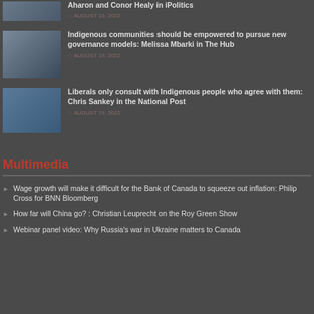[Figure (photo): Thumbnail image for news article - top partial]
Aharon and Conor Healy in iPolitics
AUGUST 19, 2022
[Figure (photo): Thumbnail image for Indigenous communities article]
Indigenous communities should be empowered to pursue new governance models: Melissa Mbarki in The Hub
AUGUST 19, 2022
[Figure (photo): Thumbnail image for Liberals article]
Liberals only consult with Indigenous people who agree with them: Chris Sankey in the National Post
AUGUST 19, 2022
Multimedia
Wage growth will make it difficult for the Bank of Canada to squeeze out inflation: Philip Cross for BNN Bloomberg
How far will China go? : Christian Leuprecht on the Roy Green Show
Webinar panel video: Why Russia's war in Ukraine matters to Canada